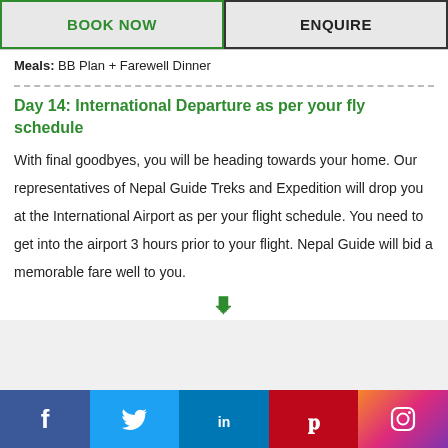BOOK NOW | ENQUIRE
Meals: BB Plan + Farewell Dinner
Day 14: International Departure as per your fly schedule
With final goodbyes, you will be heading towards your home. Our representatives of Nepal Guide Treks and Expedition will drop you at the International Airport as per your flight schedule. You need to get into the airport 3 hours prior to your flight. Nepal Guide will bid a memorable fare well to you.
Social media links: Facebook, Twitter, LinkedIn, Pinterest, Instagram